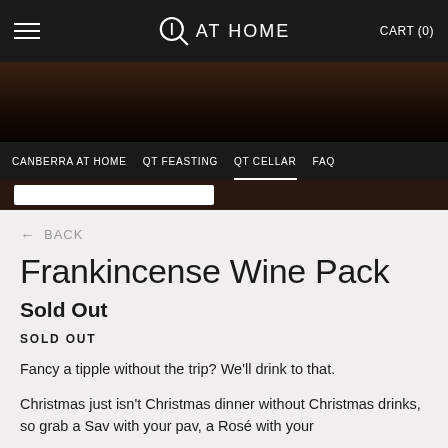QT AT HOME  CART (0)
[Figure (screenshot): Dark hero banner image with a food/dining scene]
CANBERRA AT HOME  QT FEASTING  QT CELLAR  FAQ
← BACK
Frankincense Wine Pack
Sold Out
SOLD OUT
Fancy a tipple without the trip? We'll drink to that.
Christmas just isn't Christmas dinner without Christmas drinks, so grab a Sav with your pav, a Rosé with your